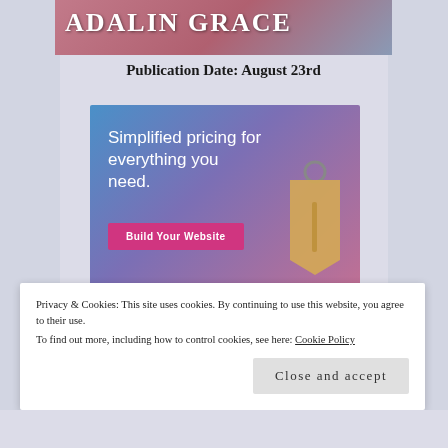[Figure (photo): Top portion of a book cover by Adalin Grace with pink/mauve and blue-grey tones]
Publication Date: August 23rd
[Figure (infographic): Advertisement banner with blue-purple-pink gradient background. Text reads 'Simplified pricing for everything you need.' with a pink 'Build Your Website' button and a price tag illustration.]
Privacy & Cookies: This site uses cookies. By continuing to use this website, you agree to their use.
To find out more, including how to control cookies, see here: Cookie Policy
Close and accept